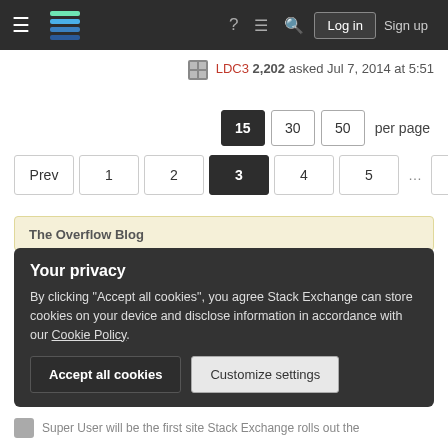[Figure (screenshot): Stack Exchange website navigation bar with hamburger menu, Stack Exchange logo, help/chat/search icons, Log in and Sign up buttons on dark background]
LDC3 2,202 asked Jul 7, 2014 at 5:51
15  30  50  per page
Prev  1  2  3  4  5  ...  10  Next
The Overflow Blog
Your privacy
By clicking "Accept all cookies", you agree Stack Exchange can store cookies on your device and disclose information in accordance with our Cookie Policy.
Accept all cookies    Customize settings
Super User will be the first site Stack Exchange rolls out the